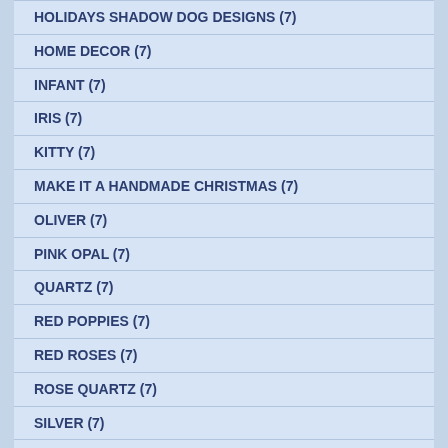HOLIDAYS SHADOW DOG DESIGNS (7)
HOME DECOR (7)
INFANT (7)
IRIS (7)
KITTY (7)
MAKE IT A HANDMADE CHRISTMAS (7)
OLIVER (7)
PINK OPAL (7)
QUARTZ (7)
RED POPPIES (7)
RED ROSES (7)
ROSE QUARTZ (7)
SILVER (7)
TAGS (7)
THANK YOU (7)
THANKSGIVING GIFTS (7)
VALENTINES DAY GIFTS FOR HER (7)